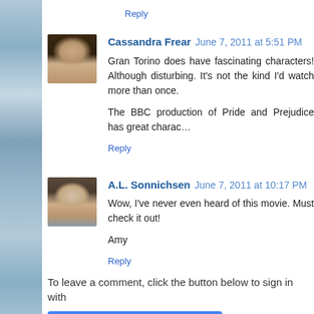Reply
Cassandra Frear  June 7, 2011 at 5:51 PM
Gran Torino does have fascinating characters! Although disturbing. It's not the kind I'd watch more than once.

The BBC production of Pride and Prejudice has great charac…
Reply
A.L. Sonnichsen  June 7, 2011 at 10:17 PM
Wow, I've never even heard of this movie. Must check it out!

Amy
Reply
To leave a comment, click the button below to sign in with
SIGN IN WITH GOOGLE